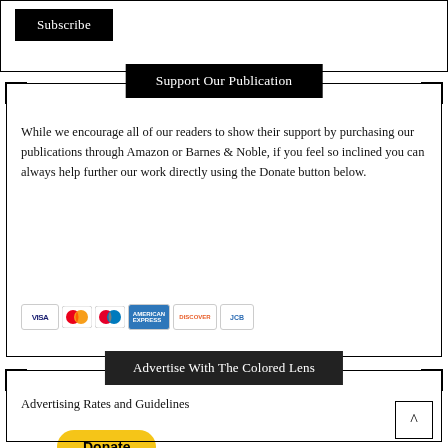Subscribe
Support Our Publication
While we encourage all of our readers to show their support by purchasing our publications through Amazon or Barnes & Noble, if you feel so inclined you can always help further our work directly using the Donate button below.
[Figure (other): Donate button (yellow rounded button) and payment method icons (Visa, Mastercard, Maestro, American Express, Discover, JCB)]
Advertise With The Colored Lens
Advertising Rates and Guidelines